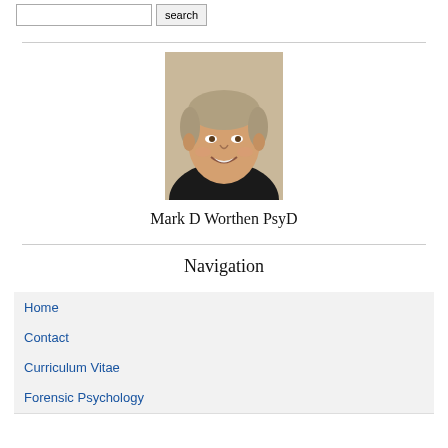search
[Figure (photo): Headshot photo of Mark D Worthen PsyD, a middle-aged man with gray-blonde hair, smiling, wearing a dark shirt]
Mark D Worthen PsyD
Navigation
Home
Contact
Curriculum Vitae
Forensic Psychology